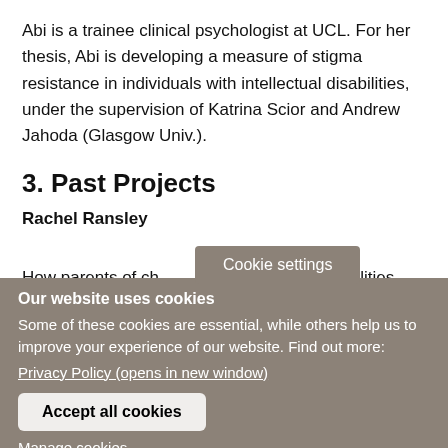Abi is a trainee clinical psychologist at UCL. For her thesis, Abi is developing a measure of stigma resistance in individuals with intellectual disabilities, under the supervision of Katrina Scior and Andrew Jahoda (Glasgow Univ.).
3. Past Projects
Rachel Ransley
How parents of ch… …ctual disabilities
Cookie settings
Our website uses cookies
Some of these cookies are essential, while others help us to improve your experience of our website. Find out more: Privacy Policy (opens in new window)
Accept all cookies
Manage cookies